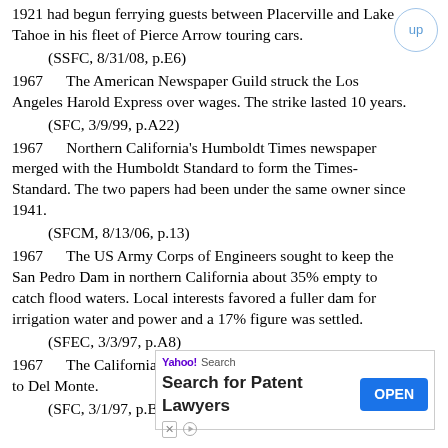1921 had begun ferrying guests between Placerville and Lake Tahoe in his fleet of Pierce Arrow touring cars.
(SSFC, 8/31/08, p.E6)
1967     The American Newspaper Guild struck the Los Angeles Harold Express over wages. The strike lasted 10 years.
(SFC, 3/9/99, p.A22)
1967     Northern California's Humboldt Times newspaper merged with the Humboldt Standard to form the Times-Standard. The two papers had been under the same owner since 1941.
(SFCM, 8/13/06, p.13)
1967     The US Army Corps of Engineers sought to keep the San Pedro Dam in northern California about 35% empty to catch flood waters. Local interests favored a fuller dam for irrigation water and power and a 17% figure was settled.
(SFEC, 3/3/97, p.A8)
1967     The California Packing Co. (Calpak) changed its name to Del Monte.
(SFC, 3/1/97, p.B1)(SSFC, 10/3/04, p.J1)
[Figure (other): Yahoo Search advertisement banner: 'Search for Patent Lawyers' with OPEN button]